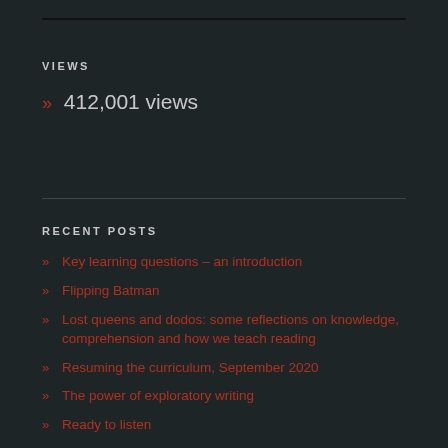VIEWS
» 412,001 views
RECENT POSTS
» Key learning questions – an introduction
» Flipping Batman
» Lost queens and dodos: some reflections on knowledge, comprehension and how we teach reading
» Resuming the curriculum, September 2020
» The power of exploratory writing
» Ready to listen